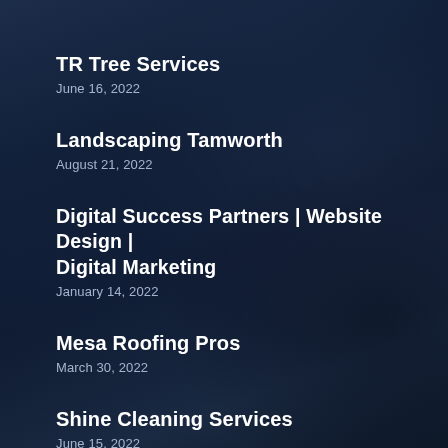TR Tree Services
June 16, 2022
Landscaping Tamworth
August 21, 2022
Digital Success Partners | Website Design | Digital Marketing
January 14, 2022
Mesa Roofing Pros
March 30, 2022
Shine Cleaning Services
June 15, 2022